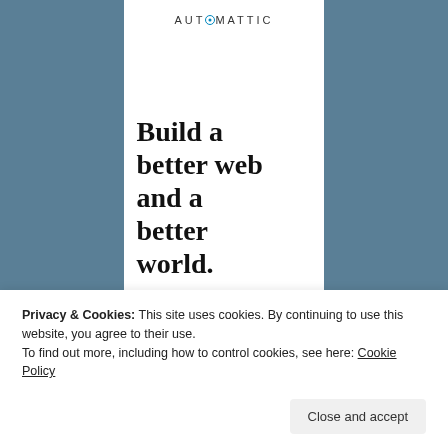[Figure (logo): Automattic logo with stylized 'O' in the brand name, centered at top of white column]
Build a better web and a better world.
Privacy & Cookies: This site uses cookies. By continuing to use this website, you agree to their use. To find out more, including how to control cookies, see here: Cookie Policy
Close and accept